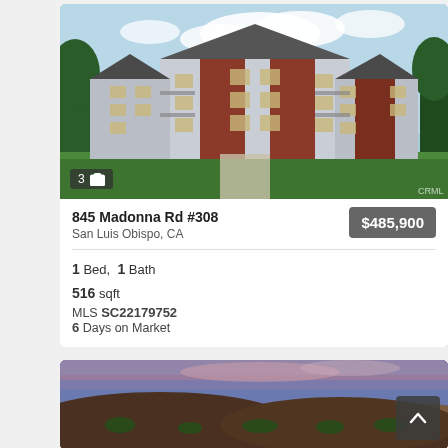[Figure (photo): Exterior rendering of a modern multi-story apartment building with white and red/brown siding, balconies, and green lawn]
845 Madonna Rd #308
San Luis Obispo, CA
$485,900
1 Bed, 1 Bath
516 sqft
MLS SC22179752
6 Days on Market
[Figure (photo): Scenic hillside landscape photo at dusk with warm purple and orange sky tones, brown hills and scrub vegetation]